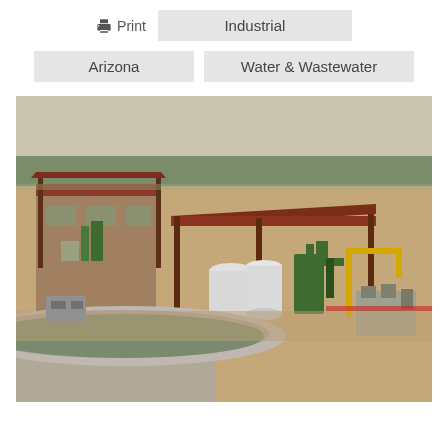Print   Industrial
Arizona   Water & Wastewater
[Figure (photo): Aerial/elevated view of a water or wastewater treatment facility in Arizona. Shows industrial structures with a rust/brown metal roof canopy covering white cylindrical tanks and green industrial equipment. Yellow crane arm visible. Sandy gravel surrounds the facility. A large circular concrete digester/tank is visible in the foreground. Desert landscape and scrub trees visible in the background.]